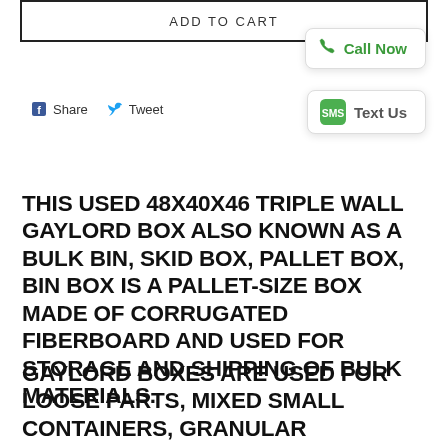[Figure (screenshot): Add to Cart button bar at top of page]
[Figure (screenshot): Call Now popup box with green phone icon]
[Figure (screenshot): Text Us popup box with green SMS icon]
[Figure (screenshot): Share and Tweet social buttons]
THIS USED 48X40X46 TRIPLE WALL GAYLORD BOX ALSO KNOWN AS A BULK BIN, SKID BOX, PALLET BOX, BIN BOX IS A PALLET-SIZE BOX MADE OF CORRUGATED FIBERBOARD AND USED FOR STORAGE AND SHIPPING OF BULK MATERIALS.
GAYLORD BOXES ARE USED FOR LOOSE PARTS, MIXED SMALL CONTAINERS, GRANULAR MATERIALS, POWDERS, ETC. MOST OF OUR CUSTOMERS ARE USING